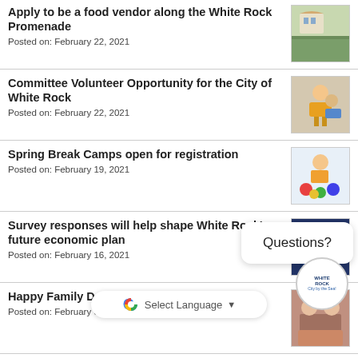Apply to be a food vendor along the White Rock Promenade
Posted on: February 22, 2021
Committee Volunteer Opportunity for the City of White Rock
Posted on: February 22, 2021
Spring Break Camps open for registration
Posted on: February 19, 2021
Survey responses will help shape White Rock's future economic plan
Posted on: February 16, 2021
Happy Family Day: Stay Connected
Posted on: February 8, 2021
Recognizing Black History Month - A Message from White Rock City Council